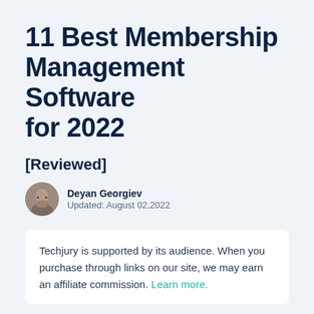11 Best Membership Management Software for 2022
[Reviewed]
Deyan Georgiev
Updated: August 02,2022
Techjury is supported by its audience. When you purchase through links on our site, we may earn an affiliate commission. Learn more.